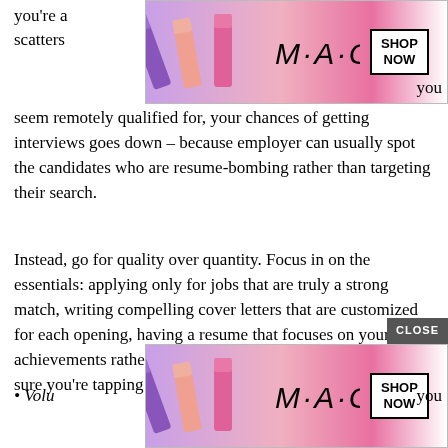[Figure (advertisement): MAC cosmetics ad banner showing lipsticks in purple, peach and pink colors with MAC logo and SHOP NOW button, red lipstick on right]
you're a scatters…you seem remotely qualified for, your chances of getting interviews goes down – because employer can usually spot the candidates who are resume-bombing rather than targeting their search.
Instead, go for quality over quantity. Focus in on the essentials: applying only for jobs that are truly a strong match, writing compelling cover letters that are customized for each opening, having a resume that focuses on your achievements rather than just responsibilities, and making sure you're tapping into your network.
Additionally, aside from direct job search activities, there are other things you can be doing with the rest of your time that will hel…
[Figure (advertisement): MAC cosmetics ad banner showing lipsticks in purple, peach and pink colors with MAC logo and SHOP NOW button]
Volu… you